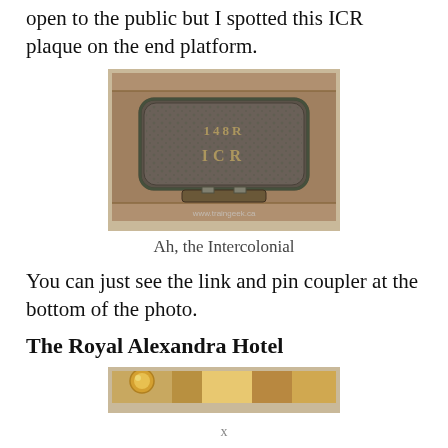open to the public but I spotted this ICR plaque on the end platform.
[Figure (photo): A weathered ICR (Intercolonial Railway) cast iron plaque mounted on wooden platform boards, with text '148R' and 'ICR' visible. A watermark reads www.traingeek.ca]
Ah, the Intercolonial
You can just see the link and pin coupler at the bottom of the photo.
The Royal Alexandra Hotel
[Figure (photo): Partial view of the interior of the Royal Alexandra Hotel showing ornate brass/gold metalwork and warm brown tones.]